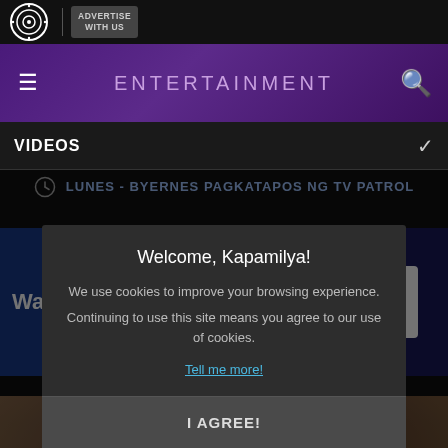ABS-CBN | ADVERTISE WITH US
ENTERTAINMENT
VIDEOS
LUNES - BYERNES PAGKATAPOS NG TV PATROL
[Figure (screenshot): Video thumbnail showing 'Watch' in white text on blue background and TFC logo badge]
Alya
e th...
[Figure (photo): Close-up faces of two people at the bottom of the page]
Welcome, Kapamilya!
We use cookies to improve your browsing experience.
Continuing to use this site means you agree to our use of cookies.
Tell me more!
I AGREE!